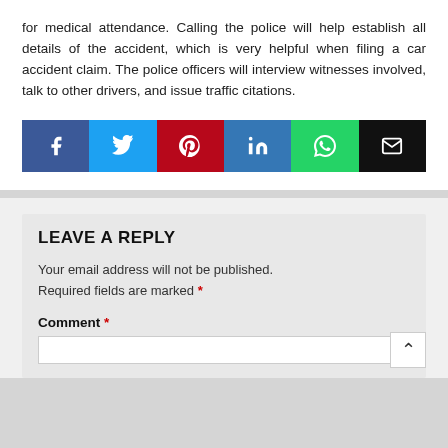for medical attendance. Calling the police will help establish all details of the accident, which is very helpful when filing a car accident claim. The police officers will interview witnesses involved, talk to other drivers, and issue traffic citations.
[Figure (infographic): Social sharing buttons: Facebook (blue), Twitter (light blue), Pinterest (dark red), LinkedIn (blue), WhatsApp (green), Email (black)]
LEAVE A REPLY
Your email address will not be published. Required fields are marked *
Comment *